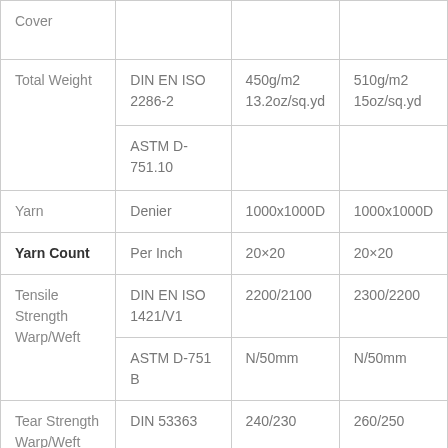| Property | Method | Value 1 | Value 2 |
| --- | --- | --- | --- |
| Cover |  |  |  |
| Total Weight | DIN EN ISO 2286-2 | 450g/m2
13.2oz/sq.yd | 510g/m2
15oz/sq.yd |
| Total Weight | ASTM D-751.10 |  |  |
| Yarn | Denier | 1000x1000D | 1000x1000D |
| Yarn Count | Per Inch | 20×20 | 20×20 |
| Tensile Strength Warp/Weft | DIN EN ISO 1421/V1 | 2200/2100 | 2300/2200 |
| Tensile Strength Warp/Weft | ASTM D-751 B | N/50mm | N/50mm |
| Tear Strength Warp/Weft | DIN 53363 | 240/230 | 260/250 |